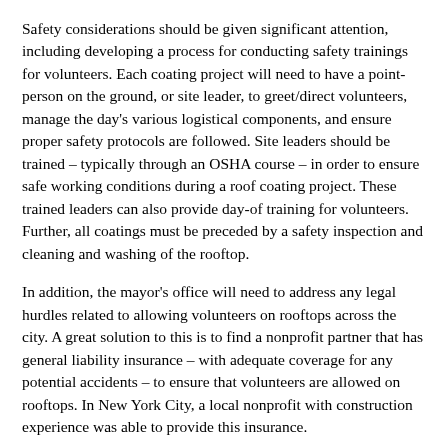Safety considerations should be given significant attention, including developing a process for conducting safety trainings for volunteers. Each coating project will need to have a point-person on the ground, or site leader, to greet/direct volunteers, manage the day's various logistical components, and ensure proper safety protocols are followed. Site leaders should be trained – typically through an OSHA course – in order to ensure safe working conditions during a roof coating project. These trained leaders can also provide day-of training for volunteers. Further, all coatings must be preceded by a safety inspection and cleaning and washing of the rooftop.
In addition, the mayor's office will need to address any legal hurdles related to allowing volunteers on rooftops across the city. A great solution to this is to find a nonprofit partner that has general liability insurance – with adequate coverage for any potential accidents – to ensure that volunteers are allowed on rooftops. In New York City, a local nonprofit with construction experience was able to provide this insurance.
To help manage volunteer expectations and set clear rules for safety, your city might find it helpful to create a Volunteer Safety Manual. This manual can include sample coating schedules, tips for volunteers to help them remain safe, and other information that volunteers might find helpful. See the Resources section for a